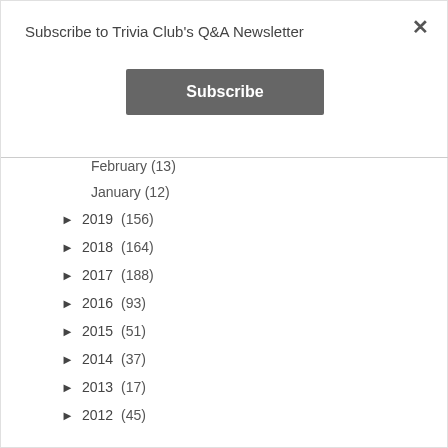Subscribe to Trivia Club's Q&A Newsletter
Subscribe
February (13)
January (12)
► 2019 (156)
► 2018 (164)
► 2017 (188)
► 2016 (93)
► 2015 (51)
► 2014 (37)
► 2013 (17)
► 2012 (45)